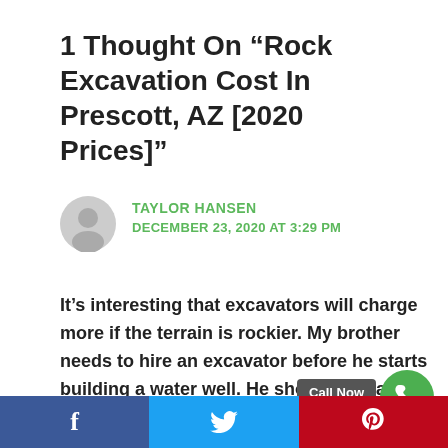1 Thought On “Rock Excavation Cost In Prescott, AZ [2020 Prices]”
TAYLOR HANSEN
DECEMBER 23, 2020 AT 3:29 PM
It’s interesting that excavators will charge more if the terrain is rockier. My brother needs to hire an excavator before he starts building a water well. He should hire an excavator that can fit within his bu…